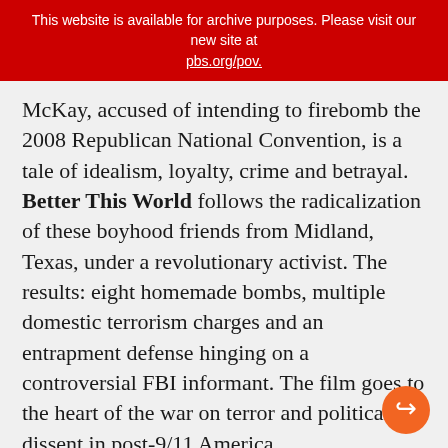This website is available for archive purposes. Please visit our new site at pbs.org/pov.
McKay, accused of intending to firebomb the 2008 Republican National Convention, is a tale of idealism, loyalty, crime and betrayal. Better This World follows the radicalization of these boyhood friends from Midland, Texas, under a revolutionary activist. The results: eight homemade bombs, multiple domestic terrorism charges and an entrapment defense hinging on a controversial FBI informant. The film goes to the heart of the war on terror and political dissent in post-9/11 America.